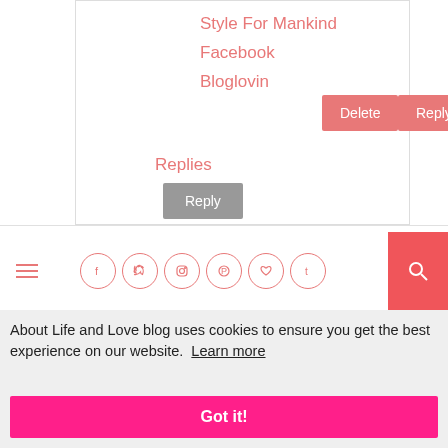Style For Mankind
Facebook
Bloglovin
Replies
[Figure (screenshot): Navigation bar with hamburger menu icon on left, six social media icons (Facebook, Twitter, Instagram, Pinterest, heart/Bloglovin, Tumblr) in pink circles, and a pink search button on the right]
About Life and Love blog uses cookies to ensure you get the best experience on our website.  Learn more
Got it!